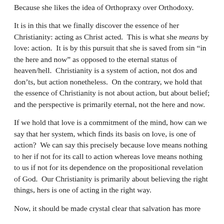Because she likes the idea of Orthopraxy over Orthodoxy.
It is in this that we finally discover the essence of her Christianity: acting as Christ acted. This is what she means by love: action. It is by this pursuit that she is saved from sin “in the here and now” as opposed to the eternal status of heaven/hell. Christianity is a system of action, not dos and don’ts, but action nonetheless. On the contrary, we hold that the essence of Christianity is not about action, but about belief; and the perspective is primarily eternal, not the here and now.
If we hold that love is a commitment of the mind, how can we say that her system, which finds its basis on love, is one of action? We can say this precisely because love means nothing to her if not for its call to action whereas love means nothing to us if not for its dependence on the propositional revelation of God. Our Christianity is primarily about believing the right things, hers is one of acting in the right way.
Now, it should be made crystal clear that salvation has more